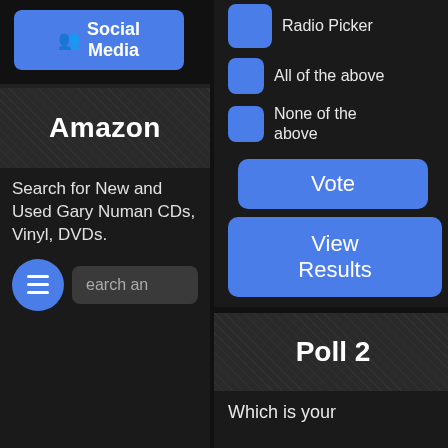[Figure (screenshot): Blue rounded button with social media icon and text 'Social Media']
[Figure (screenshot): Amazon advertisement section with textured banner showing 'Amazon' title and text 'Search for New and Used Gary Numan CDs, Vinyl, DVDs.' with a search input and blue hamburger menu button]
Radio Picker
All of the above
None of the above
[Figure (screenshot): Blue 'Vote' button]
[Figure (screenshot): Blue 'View Results' button]
[Figure (screenshot): Poll 2 banner with textured dark background]
Which is your